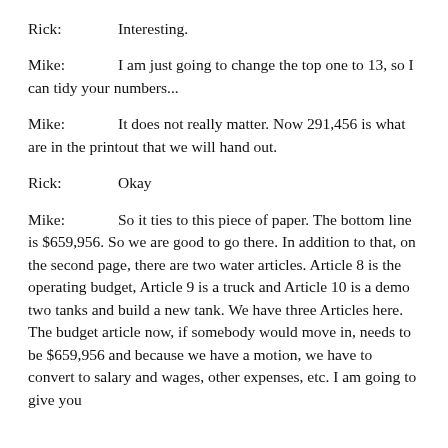Rick:          Interesting.
Mike:          I am just going to change the top one to 13, so I can tidy your numbers...
Mike:          It does not really matter. Now 291,456 is what are in the printout that we will hand out.
Rick:          Okay
Mike:          So it ties to this piece of paper. The bottom line is $659,956. So we are good to go there. In addition to that, on the second page, there are two water articles. Article 8 is the operating budget, Article 9 is a truck and Article 10 is a demo two tanks and build a new tank. We have three Articles here. The budget article now, if somebody would move in, needs to be $659,956 and because we have a motion, we have to convert to salary and wages, other expenses, etc. I am going to give you